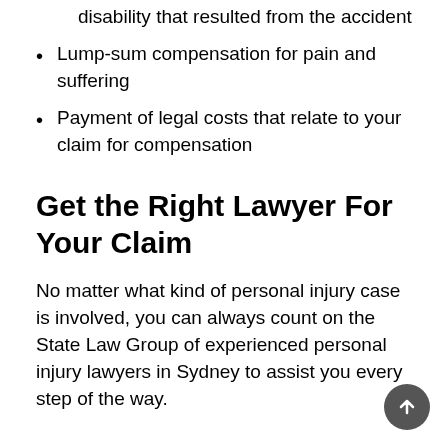disability that resulted from the accident
Lump-sum compensation for pain and suffering
Payment of legal costs that relate to your claim for compensation
Get the Right Lawyer For Your Claim
No matter what kind of personal injury case is involved, you can always count on the State Law Group of experienced personal injury lawyers in Sydney to assist you every step of the way.